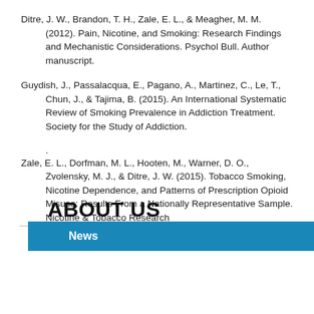Ditre, J. W., Brandon, T. H., Zale, E. L., & Meagher, M. M. (2012). Pain, Nicotine, and Smoking: Research Findings and Mechanistic Considerations. Psychol Bull. Author manuscript.
Guydish, J., Passalacqua, E., Pagano, A., Martinez, C., Le, T., Chun, J., & Tajima, B. (2015). An International Systematic Review of Smoking Prevalence in Addiction Treatment. Society for the Study of Addiction.
. Zale, E. L., Dorfman, M. L., Hooten, M., Warner, D. O., Zvolensky, M. J., & Ditre, J. W. (2015). Tobacco Smoking, Nicotine Dependence, and Patterns of Prescription Opioid Misuse: Results From a Nationally Representative Sample. Nicotine & Tobacco Research
ABOUT US
Staff
News